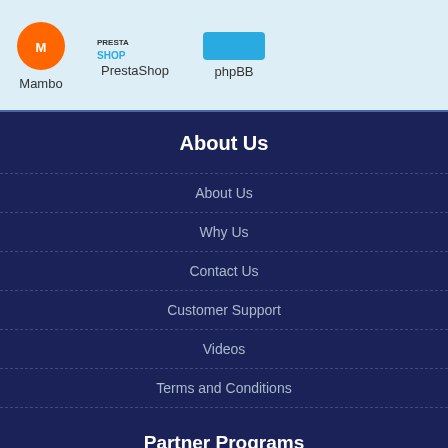[Figure (screenshot): Top banner showing software logos: Mambo, PrestaShop, phpBB with light blue background]
About Us
About Us
Why Us
Contact Us
Customer Support
Videos
Terms and Conditions
Partner Programs
Affiliate Registration
[Figure (logo): TrustedSite Certified Secure badge]